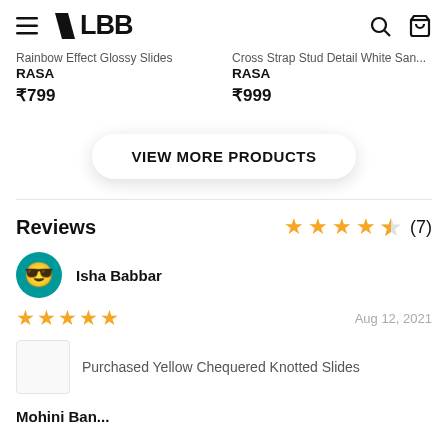LBB
Rainbow Effect Glossy Slides
RASA
₹799
Cross Strap Stud Detail White San...
RASA
₹999
VIEW MORE PRODUCTS
Reviews
Isha Babbar
★★★★★ Aug 12, 2021
Purchased Yellow Chequered Knotted Slides
Mohini Banl...